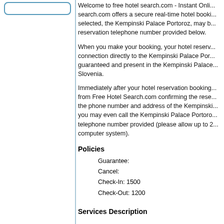Welcome to free hotel search.com - Instant Online... search.com offers a secure real-time hotel booking... selected, the Kempinski Palace Portoroz, may b... reservation telephone number provided below.
When you make your booking, your hotel reserv... connection directly to the Kempinski Palace Por... guaranteed and present in the Kempinski Palace... Slovenia.
Immediately after your hotel reservation booking... from Free Hotel Search.com confirming the rese... the phone number and address of the Kempinski... you may even call the Kempinski Palace Portoro... telephone number provided (please allow up to 2... computer system).
Policies
Guarantee:
Cancel:
Check-In: 1500
Check-Out: 1200
Services Description
Attraction Info